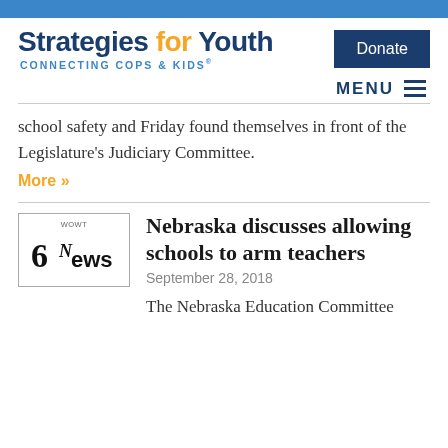[Figure (logo): Strategies for Youth - Connecting Cops & Kids logo with blue top bar and Donate button]
school safety and Friday found themselves in front of the Legislature's Judiciary Committee.
More »
Nebraska discusses allowing schools to arm teachers
September 28, 2018
The Nebraska Education Committee